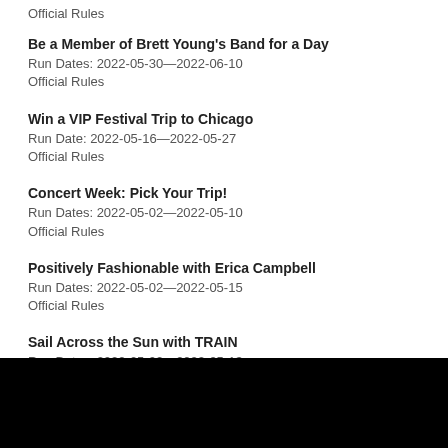Official Rules
Be a Member of Brett Young's Band for a Day
Run Dates: 2022-05-30—2022-06-10
Official Rules
Win a VIP Festival Trip to Chicago
Run Date: 2022-05-16—2022-05-27
Official Rules
Concert Week: Pick Your Trip!
Run Dates: 2022-05-02—2022-05-10
Official Rules
Positively Fashionable with Erica Campbell
Run Dates: 2022-05-02—2022-05-15
Official Rules
Sail Across the Sun with TRAIN
Run Dates: 2022-05-02—2022-05-13
Official Rules
The Great Mother's Day Giveaway
Run Dates: 2022-04-22—2022-05-05